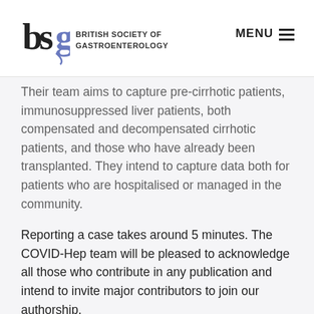BSG - British Society of Gastroenterology | MENU
Their team aims to capture pre-cirrhotic patients, immunosuppressed liver patients, both compensated and decompensated cirrhotic patients, and those who have already been transplanted. They intend to capture data both for patients who are hospitalised or managed in the community.
Reporting a case takes around 5 minutes. The COVID-Hep team will be pleased to acknowledge all those who contribute in any publication and intend to invite major contributors to join our authorship.
Who is running this project?
This project is being run by the team at the Translational Gastroenterology Unit (TGU), UK. The